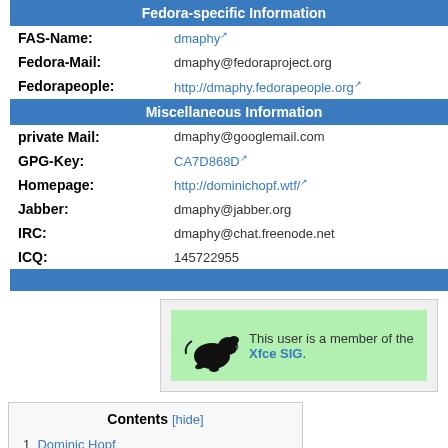| Fedora-specific Information |
| FAS-Name: | dmaphy |
| Fedora-Mail: | dmaphy@fedoraproject.org |
| Fedorapeople: | http://dmaphy.fedorapeople.org |
| Miscellaneous Information |
| private Mail: | dmaphy@googlemail.com |
| GPG-Key: | CA7D868D |
| Homepage: | http://dominichopf.wtf/ |
| Jabber: | dmaphy@jabber.org |
| IRC: | dmaphy@chat.freenode.net |
| ICQ: | 145722955 |
[Figure (illustration): Xfce SIG membership box with mouse icon and text: This user is a member of the Xfce SIG.]
Contents [hide] 1 Dominic Hopf 1.1 Information 1.2 Special Interests 1.3 Package Maintainer